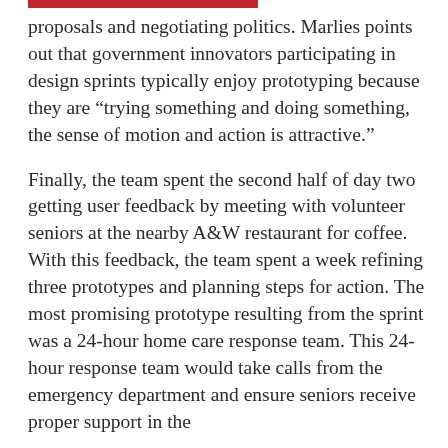proposals and negotiating politics. Marlies points out that government innovators participating in design sprints typically enjoy prototyping because they are “trying something and doing something, the sense of motion and action is attractive.”
Finally, the team spent the second half of day two getting user feedback by meeting with volunteer seniors at the nearby A&W restaurant for coffee. With this feedback, the team spent a week refining three prototypes and planning steps for action. The most promising prototype resulting from the sprint was a 24-hour home care response team. This 24-hour response team would take calls from the emergency department and ensure seniors receive proper support in the